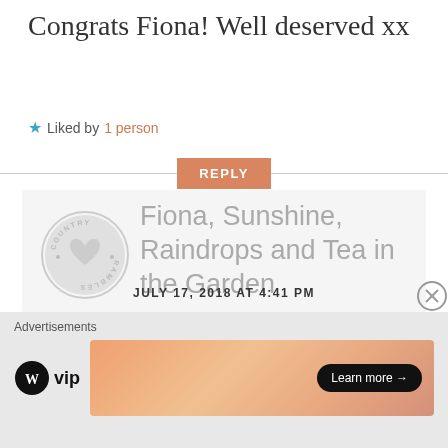Congrats Fiona! Well deserved xx
★ Liked by 1 person
REPLY
[Figure (logo): Country Rambles circular logo with heart]
Fiona, Sunshine, Raindrops and Tea in the Garden
JULY 17, 2018 AT 4:41 PM
Advertisements
[Figure (logo): WordPress VIP logo]
[Figure (other): Learn more advertisement banner with orange/peach gradient]